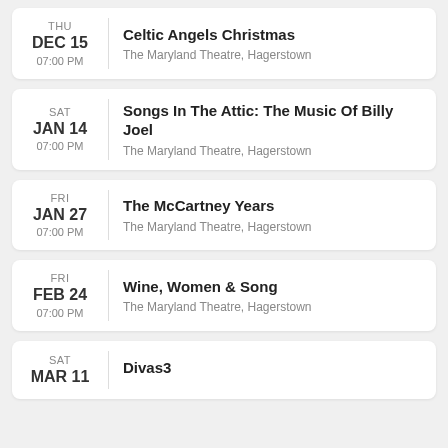THU DEC 15 07:00 PM | Celtic Angels Christmas | The Maryland Theatre, Hagerstown
SAT JAN 14 07:00 PM | Songs In The Attic: The Music Of Billy Joel | The Maryland Theatre, Hagerstown
FRI JAN 27 07:00 PM | The McCartney Years | The Maryland Theatre, Hagerstown
FRI FEB 24 07:00 PM | Wine, Women & Song | The Maryland Theatre, Hagerstown
SAT MAR 11 | Divas3